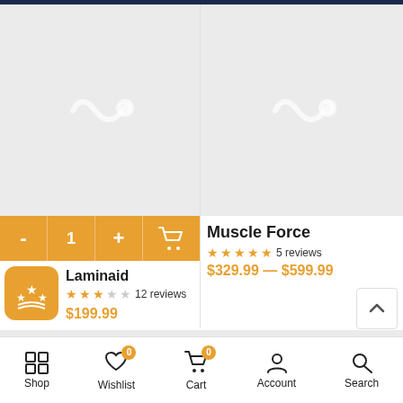[Figure (screenshot): E-commerce mobile app showing two product cards: Laminaid (3-star, $199.99) and Muscle Force (5-star, $329.99–$599.99) with placeholder product images, add-to-cart bar, and bottom navigation bar.]
Laminaid
★★★ 12 reviews
$199.99
Muscle Force
★★★★★ 5 reviews
$329.99 — $599.99
Shop  Wishlist  Cart  Account  Search